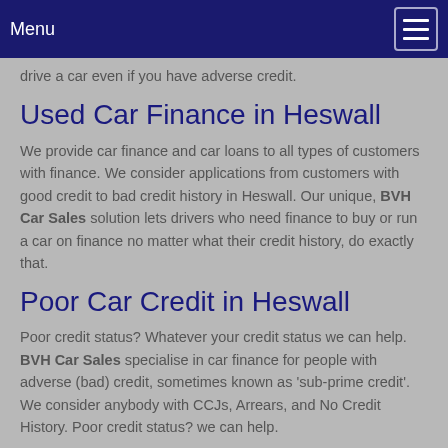Menu
drive a car even if you have adverse credit.
Used Car Finance in Heswall
We provide car finance and car loans to all types of customers with finance. We consider applications from customers with good credit to bad credit history in Heswall. Our unique, BVH Car Sales solution lets drivers who need finance to buy or run a car on finance no matter what their credit history, do exactly that.
Poor Car Credit in Heswall
Poor credit status? Whatever your credit status we can help. BVH Car Sales specialise in car finance for people with adverse (bad) credit, sometimes known as 'sub-prime credit'. We consider anybody with CCJs, Arrears, and No Credit History. Poor credit status? we can help.
We Buy Cars In Heswall
If you are looking to Sell Your Used your car locally in Heswall we